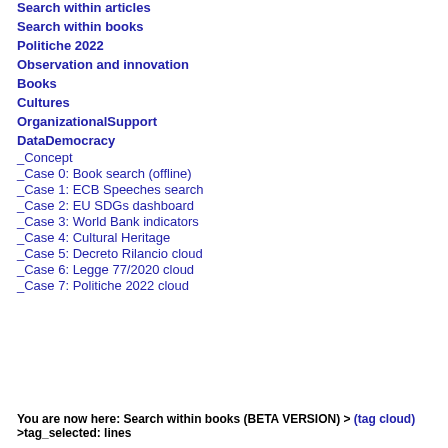Search within articles
Search within books
Politiche 2022
Observation and innovation
Books
Cultures
OrganizationalSupport
DataDemocracy
_Concept
_Case 0: Book search (offline)
_Case 1: ECB Speeches search
_Case 2: EU SDGs dashboard
_Case 3: World Bank indicators
_Case 4: Cultural Heritage
_Case 5: Decreto Rilancio cloud
_Case 6: Legge 77/2020 cloud
_Case 7: Politiche 2022 cloud
You are now here: Search within books (BETA VERSION) > (tag cloud) >tag_selected: lines